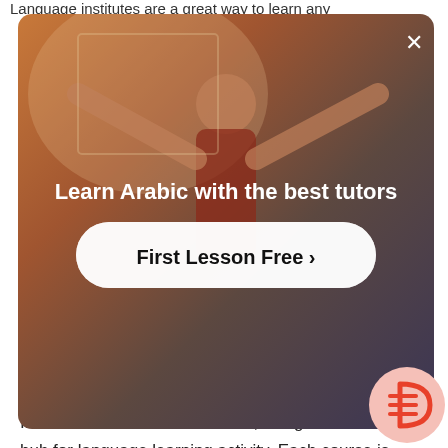Language institutes are a great way to learn any
[Figure (screenshot): Advertisement overlay for Arabic tutoring: 'Learn Arabic with the best tutors' with a 'First Lesson Free >' button, shown over a background photo of a person in a room. An X close button is in the top right corner.]
Language institutes aren't just found in Miami. You can find them across the country. For example, if you want to learn Arabic in Boston, you can find similar options to the ones discussed below.
Inlingua Miami, Language Center
In the heart of beautiful Brickell, Inlingua Miam hub for language learning activity. Each course is